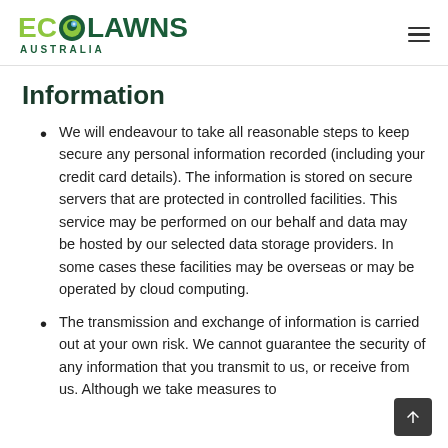ECOLAWNS AUSTRALIA
Information
We will endeavour to take all reasonable steps to keep secure any personal information recorded (including your credit card details). The information is stored on secure servers that are protected in controlled facilities. This service may be performed on our behalf and data may be hosted by our selected data storage providers. In some cases these facilities may be overseas or may be operated by cloud computing.
The transmission and exchange of information is carried out at your own risk. We cannot guarantee the security of any information that you transmit to us, or receive from us. Although we take measures to